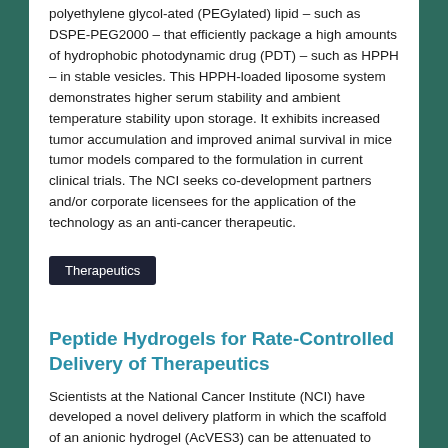polyethylene glycol-ated (PEGylated) lipid – such as DSPE-PEG2000 – that efficiently package a high amounts of hydrophobic photodynamic drug (PDT) – such as HPPH – in stable vesicles. This HPPH-loaded liposome system demonstrates higher serum stability and ambient temperature stability upon storage. It exhibits increased tumor accumulation and improved animal survival in mice tumor models compared to the formulation in current clinical trials. The NCI seeks co-development partners and/or corporate licensees for the application of the technology as an anti-cancer therapeutic.
Therapeutics
Peptide Hydrogels for Rate-Controlled Delivery of Therapeutics
Scientists at the National Cancer Institute (NCI) have developed a novel delivery platform in which the scaffold of an anionic hydrogel (AcVES3) can be attenuated to deliver therapeutic small molecules, peptides, proteins